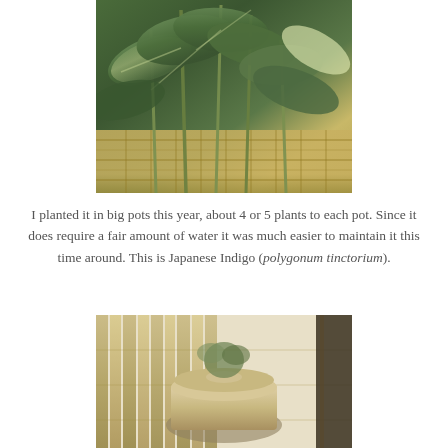[Figure (photo): Close-up photo of Japanese Indigo (polygonum tinctorium) plant stems and green leaves arranged in a wicker basket]
I planted it in big pots this year, about 4 or 5 plants to each pot. Since it does require a fair amount of water it was much easier to maintain it this time around. This is Japanese Indigo (polygonum tinctorium).
[Figure (photo): Photo of a ceramic pot or container outdoors against a bamboo fence background]